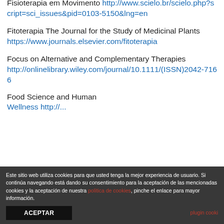Fisioterapia em Movimento http://www.scielo.br/scielo.php?script=sci_issues&pid=0103-5150&lng=en
Fitoterapia The Journal for the Study of Medicinal Plants https://www.journals.elsevier.com/fitoterapia
Focus on Alternative and Complementary Therapies http://onlinelibrary.wiley.com/journal/10.1111/(ISSN)2042-7166
Food Science and Human Wellness http://...
Este sitio web utiliza cookies para que usted tenga la mejor experiencia de usuario. Si continúa navegando está dando su consentimiento para la aceptación de las mencionadas cookies y la aceptación de nuestra politica de cookies, pinche el enlace para mayor información.